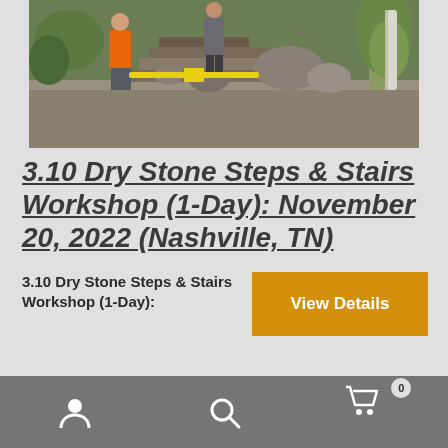[Figure (photo): Workers in orange and grey clothing building dry stone steps on a hillside with gravel, rocks, and trees in the background. A yellow level tool is visible.]
3.10 Dry Stone Steps & Stairs Workshop (1-Day): November 20, 2022 (Nashville, TN)
3.10 Dry Stone Steps & Stairs Workshop (1-Day):
View Details
User icon | Search icon | Cart icon (0)